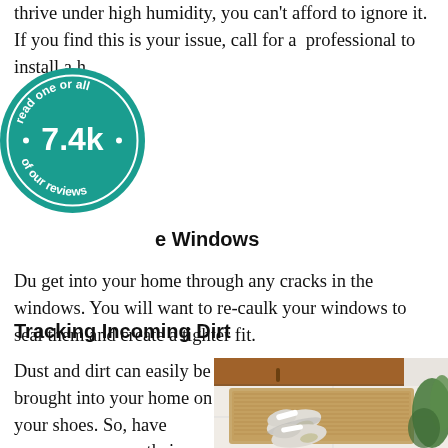thrive under high humidity, you can't afford to ignore it. If you find this is your issue, call for a professional to install a h
[Figure (other): Circular teal badge with text 'read one or all of our reviews • 7.4k •']
e Windows
Dus get into your home through any cracks in the windows. You will want to re-caulk your windows to seal them and create a tighter fit.
Tracking Incoming Dirt
Dust and dirt can easily be brought into your home on your shoes. So, have everyone remove their
[Figure (photo): Overhead view of a doormat with a pair of white sneakers on it, a wooden door and green plant visible, on a light tiled floor.]